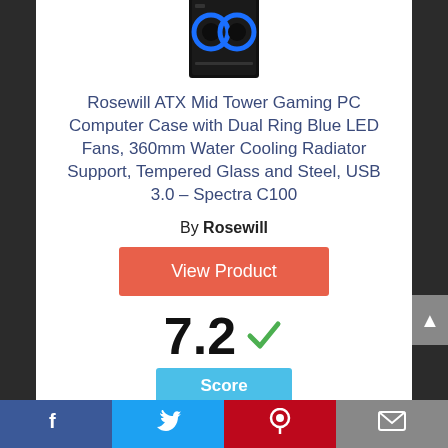[Figure (photo): Gaming PC computer case with blue LED ring fans, black tower, partially visible at top of page]
Rosewill ATX Mid Tower Gaming PC Computer Case with Dual Ring Blue LED Fans, 360mm Water Cooling Radiator Support, Tempered Glass and Steel, USB 3.0 – Spectra C100
By Rosewill
View Product
7.2
Score
Facebook Twitter Pinterest Email